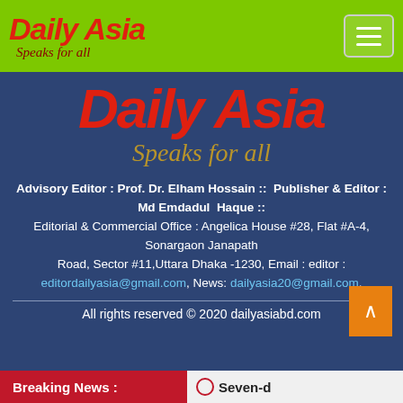Daily Asia — Speaks for all (navigation bar with menu button)
[Figure (logo): Daily Asia logo — large red bold italic text 'Daily Asia' with golden italic subtitle 'Speaks for all' on dark blue background]
Advisory Editor : Prof. Dr. Elham Hossain ::  Publisher & Editor : Md Emdadul  Haque :: Editorial & Commercial Office : Angelica House #28, Flat #A-4, Sonargaon Janapath Road, Sector #11,Uttara Dhaka -1230, Email : editor : editordailyasia@gmail.com, News: dailyasia20@gmail.com,
All rights reserved © 2020 dailyasiabd.com
Breaking News :  Seven-d